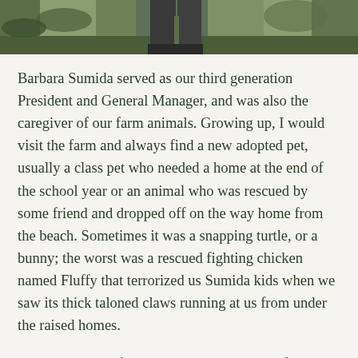[Figure (photo): Cropped photograph showing the lower portion of a person standing outdoors near tropical vegetation, wearing dark pants.]
Barbara Sumida served as our third generation President and General Manager, and was also the caregiver of our farm animals. Growing up, I would visit the farm and always find a new adopted pet, usually a class pet who needed a home at the end of the school year or an animal who was rescued by some friend and dropped off on the way home from the beach. Sometimes it was a snapping turtle, or a bunny; the worst was a rescued fighting chicken named Fluffy that terrorized us Sumida kids when we saw its thick taloned claws running at us from under the raised homes.
Mr. Turtle, a red footed tortoise, came to the farm many years ago when he was found in a friend's